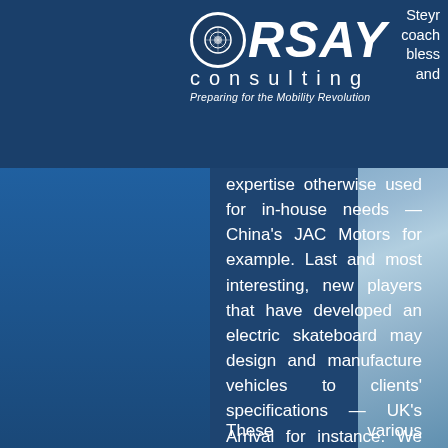Steyr coach bless and
[Figure (logo): Orsay Consulting logo with circular emblem, bold ORSAY text, consulting in spaced letters, tagline: Preparing for the Mobility Revolution]
expertise otherwise used for in-house needs — China's JAC Motors for example. Last and most interesting, new players that have developed an electric skateboard may design and manufacture vehicles to clients' specifications — UK's Arrival for instance. We will look at these three models below.
These various approaches to producing vehicles come at a time when the mobility space is undergoing a radical transformation. A number of startups are trying to become full-blown automotive brands, new mobility concepts such as robotaxis and autonomous shuttles are emerging, and electrification enables new ways to design and build